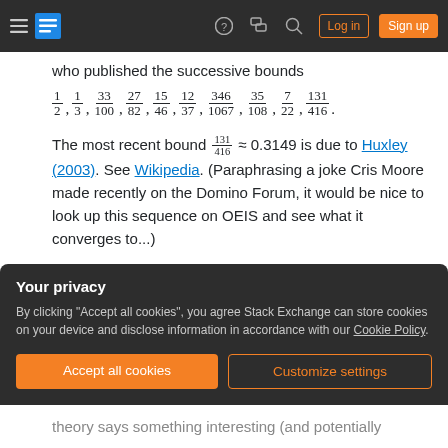Stack Exchange navigation bar with hamburger menu, logo, help, chat, search, Log in, Sign up
who published the successive bounds
The most recent bound 131/416 ≈ 0.3149 is due to Huxley (2003). See Wikipedia. (Paraphrasing a joke Cris Moore made recently on the Domino Forum, it would be nice to look up this sequence on OEIS and see what it converges to...)
Your privacy
By clicking "Accept all cookies", you agree Stack Exchange can store cookies on your device and disclose information in accordance with our Cookie Policy.
Accept all cookies   Customize settings
theory says something interesting (and potentially